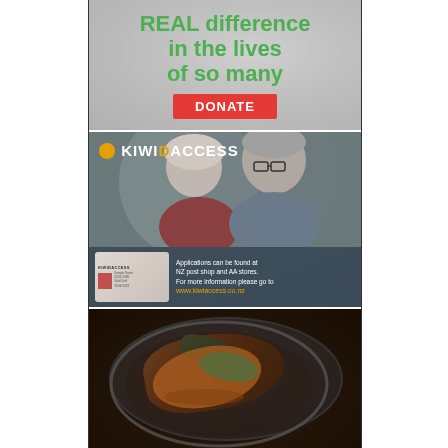[Figure (illustration): Charity donation advertisement with green text 'REAL difference in the lives of so many' and a red DONATE button on a grey/white background]
[Figure (photo): KiwiAccess advertisement showing an elderly smiling couple, with KiwiAccess card image and text: 'Applications can be found at NZ post shop and AA stores. For more information please go to www.kiwiaccess.co.nz']
[Figure (photo): Close-up photo of a food dish, appearing to be a piece of fish or meat with greens and sauce on a dark plate]